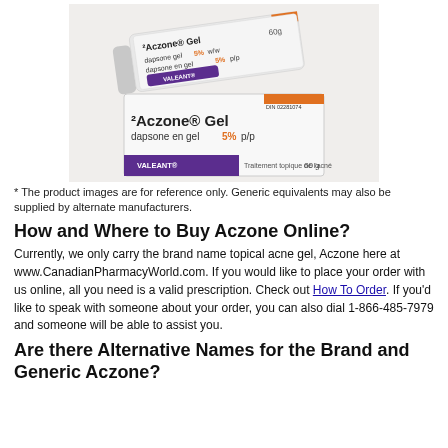[Figure (photo): Photo of Aczone Gel product — a white tube and white box. The tube shows 'Aczone Gel dapsone gel 5% w/w / dapsone en gel 5% p/p' with Valeant branding and 60g. The box shows 'Aczone Gel dapsone en gel 5% p/p', Traitement topique de l'acné, 60g, DIN 02281074, Valeant logo.]
* The product images are for reference only. Generic equivalents may also be supplied by alternate manufacturers.
How and Where to Buy Aczone Online?
Currently, we only carry the brand name topical acne gel, Aczone here at www.CanadianPharmacyWorld.com. If you would like to place your order with us online, all you need is a valid prescription. Check out How To Order. If you'd like to speak with someone about your order, you can also dial 1-866-485-7979 and someone will be able to assist you.
Are there Alternative Names for the Brand and Generic Aczone?